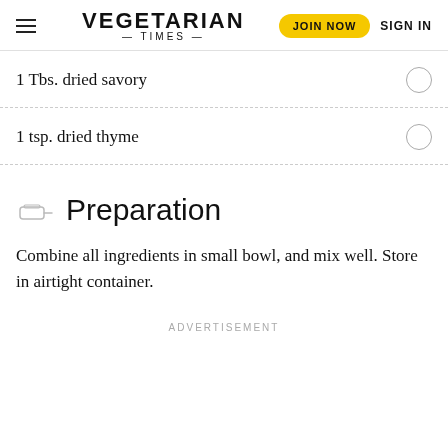VEGETARIAN TIMES | JOIN NOW | SIGN IN
1 Tbs. dried savory
1 tsp. dried thyme
Preparation
Combine all ingredients in small bowl, and mix well. Store in airtight container.
ADVERTISEMENT